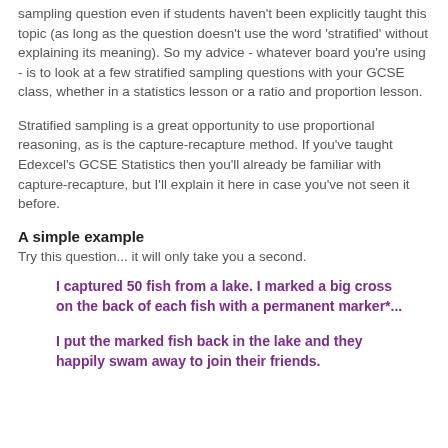sampling question even if students haven't been explicitly taught this topic (as long as the question doesn't use the word 'stratified' without explaining its meaning). So my advice - whatever board you're using - is to look at a few stratified sampling questions with your GCSE class, whether in a statistics lesson or a ratio and proportion lesson.
Stratified sampling is a great opportunity to use proportional reasoning, as is the capture-recapture method. If you've taught Edexcel's GCSE Statistics then you'll already be familiar with capture-recapture, but I'll explain it here in case you've not seen it before.
A simple example
Try this question... it will only take you a second.
I captured 50 fish from a lake. I marked a big cross on the back of each fish with a permanent marker*...
I put the marked fish back in the lake and they happily swam away to join their friends.